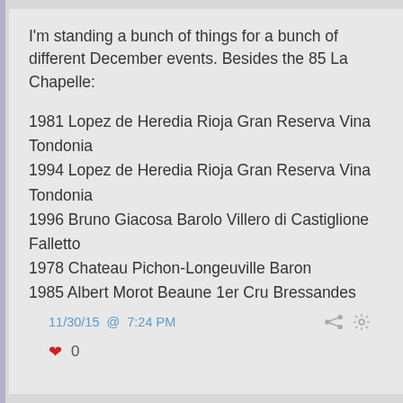I'm standing a bunch of things for a bunch of different December events. Besides the 85 La Chapelle:
1981 Lopez de Heredia Rioja Gran Reserva Vina Tondonia
1994 Lopez de Heredia Rioja Gran Reserva Vina Tondonia
1996 Bruno Giacosa Barolo Villero di Castiglione Falletto
1978 Chateau Pichon-Longeuville Baron
1985 Albert Morot Beaune 1er Cru Bressandes
11/30/15 @ 7:24 PM  0